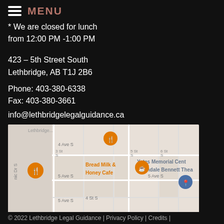MENU
* We are closed for lunch
from 12:00 PM -1:00 PM
423 – 5th Street South
Lethbridge, AB T1J 2B6
Phone: 403-380-6338
Fax: 403-380-3661
info@lethbridgelegalguidance.ca
[Figure (map): Google Maps showing area around 5th Street South, Lethbridge, AB. Shows Yates Memorial Centre / Sterndale Bennett Theatre, Bread Milk & Honey Cafe with restaurant and coffee map pins, street labels including 4 Ave S, 5 Ave S, 3 St S, 5 St S, 4 St S, 6 St S, and Civic Dr S.]
© 2022 Lethbridge Legal Guidance | Privacy Policy | Credits |